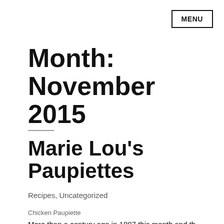MENU
Month: November 2015
Marie Lou's Paupiettes
Recipes, Uncategorized
Chicken Paupiette
More than a century ago in 1887 this month and the...